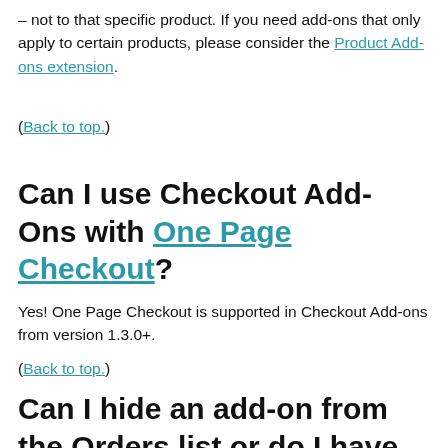– not to that specific product. If you need add-ons that only apply to certain products, please consider the Product Add-ons extension.
(Back to top.)
Can I use Checkout Add-Ons with One Page Checkout?
Yes! One Page Checkout is supported in Checkout Add-ons from version 1.3.0+.
(Back to top.)
Can I hide an add-on from the Orders list or do I have to edit its attribute?